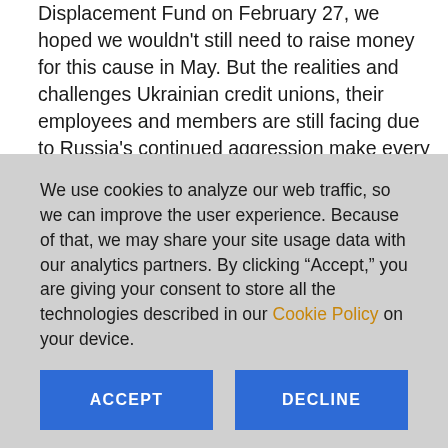Displacement Fund on February 27, we hoped we wouldn't still need to raise money for this cause in May. But the realities and challenges Ukrainian credit unions, their employees and members are still facing due to Russia's continued aggression make every donation to the Displacement Fund that
We use cookies to analyze our web traffic, so we can improve the user experience. Because of that, we may share your site usage data with our analytics partners. By clicking “Accept,” you are giving your consent to store all the technologies described in our Cookie Policy on your device.